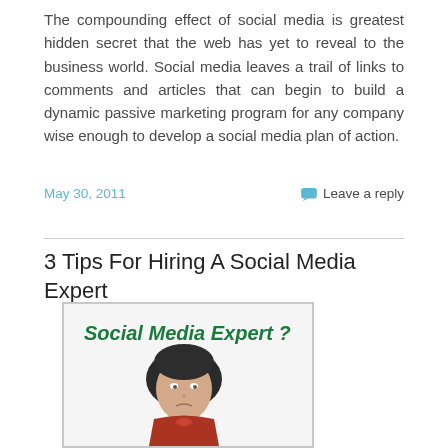The compounding effect of social media is greatest hidden secret that the web has yet to reveal to the business world. Social media leaves a trail of links to comments and articles that can begin to build a dynamic passive marketing program for any company wise enough to develop a social media plan of action.
May 30, 2011
Leave a reply
3 Tips For Hiring A Social Media Expert
[Figure (photo): Image with text 'Social Media Expert ?' and a person with dark hair wearing a red shirt looking confused]